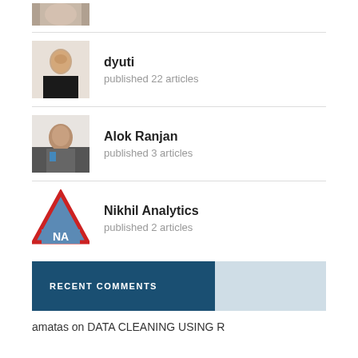[Figure (photo): Partial author photo at top of page (cropped)]
dyuti
published 22 articles
[Figure (photo): Photo of dyuti, a woman wearing glasses and formal attire]
Alok Ranjan
published 3 articles
[Figure (photo): Photo of Alok Ranjan, a man in formal attire with glasses]
[Figure (logo): Nikhil Analytics logo: red triangle outline with blue filled triangle, letters NA in white]
Nikhil Analytics
published 2 articles
RECENT COMMENTS
amatas on DATA CLEANING USING R